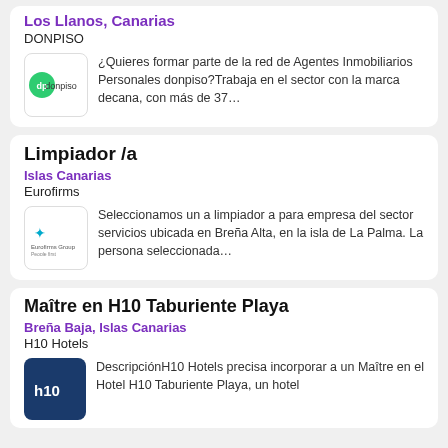Los Llanos, Canarias
DONPISO
¿Quieres formar parte de la red de Agentes Inmobiliarios Personales donpiso?Trabaja en el sector con la marca decana, con más de 37…
Limpiador /a
Islas Canarias
Eurofirms
Seleccionamos un a limpiador a para empresa del sector servicios ubicada en Breña Alta, en la isla de La Palma. La persona seleccionada…
Maître en H10 Taburiente Playa
Breña Baja, Islas Canarias
H10 Hotels
DescripciónH10 Hotels precisa incorporar a un Maître en el Hotel H10 Taburiente Playa, un hotel…